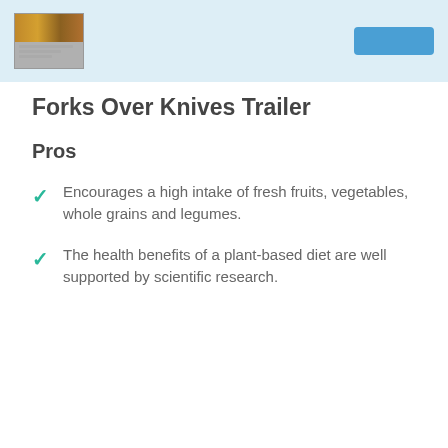[Figure (screenshot): Light blue banner area showing a thumbnail image of the Forks Over Knives documentary and a play button]
Forks Over Knives Trailer
Pros
Encourages a high intake of fresh fruits, vegetables, whole grains and legumes.
The health benefits of a plant-based diet are well supported by scientific research.